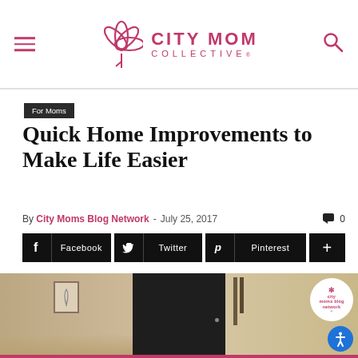City Mom Collective
For Moms
Quick Home Improvements to Make Life Easier
By City Moms Blog Network - July 25, 2017  0
Facebook  Twitter  Pinterest  +
[Figure (photo): Interior hallway of a home showing walls, a framed picture, a dark door, and a shelf with items. City Moms Blog Network watermark badge visible in upper right corner.]